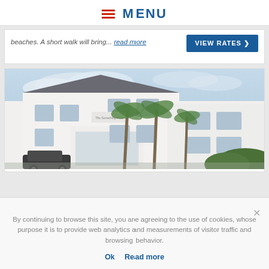≡  MENU
beaches. A short walk will bring... read more
[Figure (photo): Exterior photo of a white British guesthouse/hotel building with palm trees in front, parked car visible, taken under a partly cloudy sky.]
By continuing to browse this site, you are agreeing to the use of cookies, whose purpose it is to provide web analytics and measurements of visitor traffic and browsing behavior.
Ok   Read more